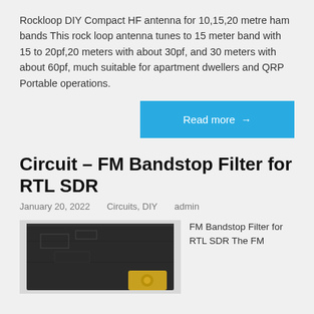Rockloop DIY Compact HF antenna for 10,15,20 metre ham bands This rock loop antenna tunes to 15 meter band with 15 to 20pf,20 meters with about 30pf, and 30 meters with about 60pf, much suitable for apartment dwellers and QRP Portable operations.
Read more →
Circuit – FM Bandstop Filter for RTL SDR
January 20, 2022    Circuits, DIY    admin
[Figure (photo): Photo of a black FM Bandstop Filter circuit board for RTL SDR with a gold SMA connector visible at the bottom right.]
FM Bandstop Filter for RTL SDR The FM